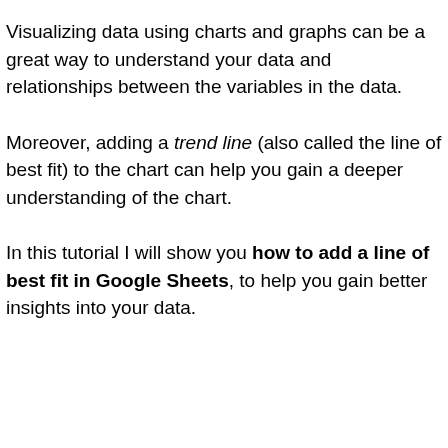Visualizing data using charts and graphs can be a great way to understand your data and relationships between the variables in the data.
Moreover, adding a trend line (also called the line of best fit) to the chart can help you gain a deeper understanding of the chart.
In this tutorial I will show you how to add a line of best fit in Google Sheets, to help you gain better insights into your data.